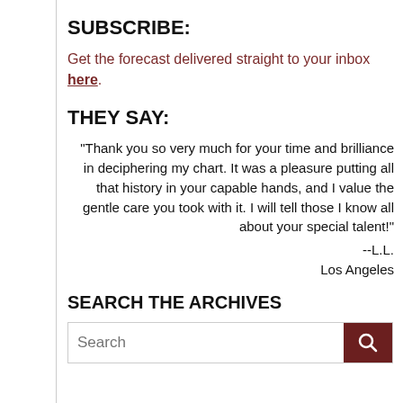SUBSCRIBE:
Get the forecast delivered straight to your inbox here.
THEY SAY:
"Thank you so very much for your time and brilliance in deciphering my chart. It was a pleasure putting all that history in your capable hands, and I value the gentle care you took with it. I will tell those I know all about your special talent!" --L.L. Los Angeles
SEARCH THE ARCHIVES
Search